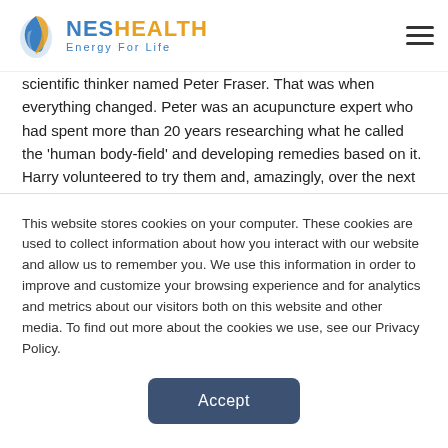NES HEALTH — Energy For Life
scientific thinker named Peter Fraser. That was when everything changed. Peter was an acupuncture expert who had spent more than 20 years researching what he called the 'human body-field' and developing remedies based on it. Harry volunteered to try them and, amazingly, over the next two years was able to make a full recovery.
Peter and Harry began working together, combining Peter's stunning research with Harry's entrepreneurial skills and remarkable technological insights. They founded NES Health (then called Nutri-Energetics Systems) to develop practical applications based on their research and understanding of the information...
This website stores cookies on your computer. These cookies are used to collect information about how you interact with our website and allow us to remember you. We use this information in order to improve and customize your browsing experience and for analytics and metrics about our visitors both on this website and other media. To find out more about the cookies we use, see our Privacy Policy.
Accept